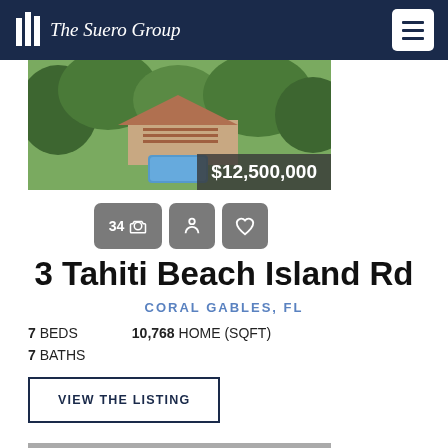The Suero Group
[Figure (photo): Aerial view of luxury property with pool and trees, price badge showing $12,500,000]
34 photos, tour, favorite buttons
3 Tahiti Beach Island Rd
CORAL GABLES, FL
7 BEDS   10,768 HOME (SQFT)
7 BATHS
VIEW THE LISTING
[Figure (photo): Bottom partial property image, gray placeholder]